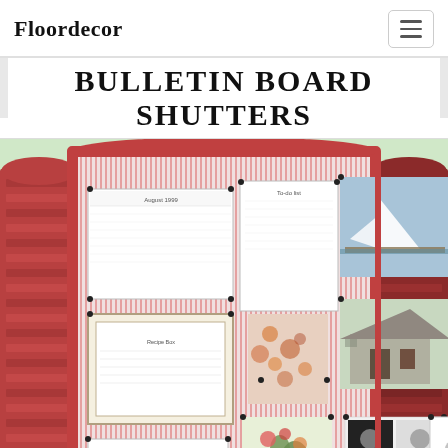Floordecor
Bulletin Board Shutters
[Figure (photo): Photo of red wooden shutter panels arranged as a bulletin board, with a striped pink/white fabric backing. Various papers, calendars, photos of a sailboat and a barn, decorative cards, and floral prints are pinned to the shutters. The shutters are painted red/coral and folded in a trifold style.]